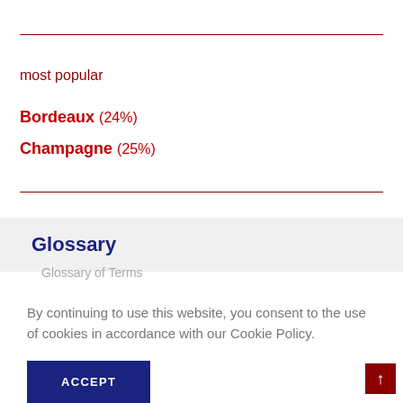most popular
Bordeaux (24%)
Champagne (25%)
Glossary
Glossary of Terms
By continuing to use this website, you consent to the use of cookies in accordance with our Cookie Policy.
ACCEPT
[Figure (other): Scroll-to-top button with upward arrow on dark red background]